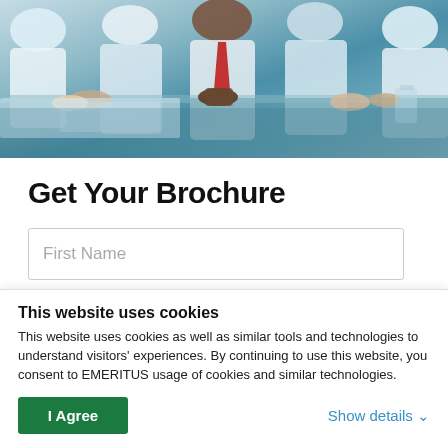[Figure (photo): Business meeting photo showing people in formal attire seated around a table, with hands visible interacting, one person wearing a red tie. The image has a cool blue-green tone.]
Get Your Brochure
First Name
This website uses cookies
This website uses cookies as well as similar tools and technologies to understand visitors' experiences. By continuing to use this website, you consent to EMERITUS usage of cookies and similar technologies.